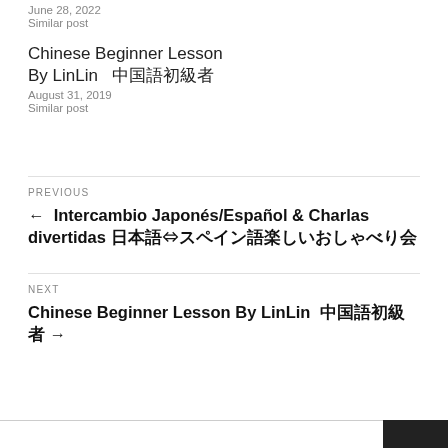June 28, 2022
Similar post
Chinese Beginner Lesson By LinLin　中国語初級者
August 31, 2019
Similar post
PREVIOUS
← 　Intercambio Japonés/Español & Charlas divertidas 日本語⇔スペイン語楽しいおしゃべり会
NEXT
Chinese Beginner Lesson By LinLin　中国語初級者 →